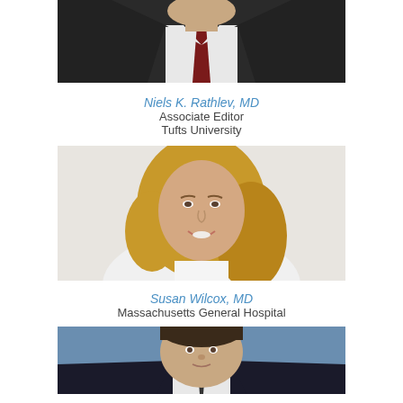[Figure (photo): Partial photo of a man in dark suit with dark red tie, cropped showing chin/neck/chest only]
Niels K. Rathlev, MD
Associate Editor
Tufts University
[Figure (photo): Professional headshot of Susan Wilcox, MD — woman with blonde hair, wearing white, smiling]
Susan Wilcox, MD
Massachusetts General Hospital
[Figure (photo): Partial headshot of a man with dark hair, blue background, cropped at bottom of page]